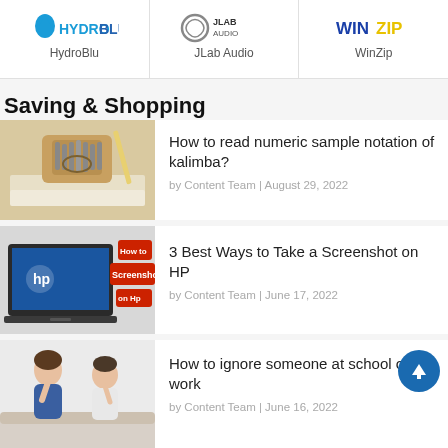[Figure (logo): HydroBlu logo with blue droplet icon]
HydroBlu
[Figure (logo): JLab Audio logo with circular arrow icon]
JLab Audio
[Figure (logo): WinZip logo with blue text]
WinZip
Saving & Shopping
[Figure (photo): Photo of a kalimba instrument on notebooks with pencils]
How to read numeric sample notation of kalimba?
by Content Team | August 29, 2022
[Figure (screenshot): Thumbnail showing HP laptop with 'How to Screenshot on Hp' overlay text in red boxes]
3 Best Ways to Take a Screenshot on HP
by Content Team | June 17, 2022
[Figure (photo): Photo of two people sitting, appearing to ignore each other]
How to ignore someone at school or at work
by Content Team | June 16, 2022